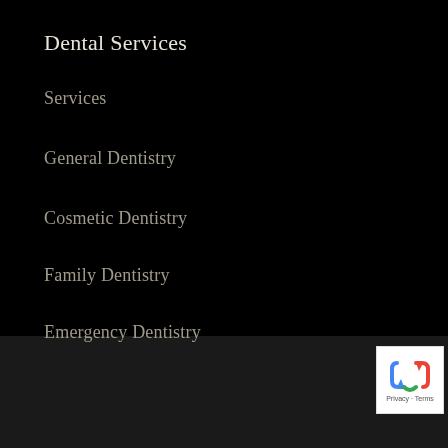Dental Services
Services
General Dentistry
Cosmetic Dentistry
Family Dentistry
Emergency Dentistry
Lombardi Dentistry
Dentist in Joliet, IL
2011 Theodore St.